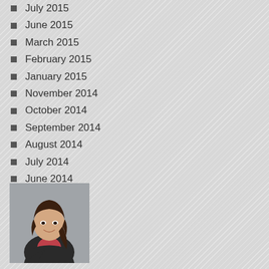July 2015
June 2015
March 2015
February 2015
January 2015
November 2014
October 2014
September 2014
August 2014
July 2014
June 2014
[Figure (photo): Professional headshot of a young Asian woman with long dark hair, wearing a black blazer and pink top, arms crossed, smiling]